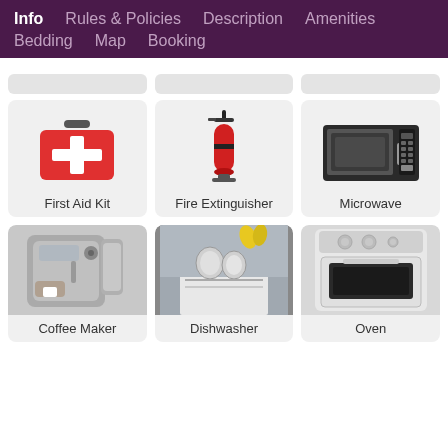Info  Rules & Policies  Description  Amenities  Bedding  Map  Booking
[Figure (illustration): First Aid Kit - red box with white cross]
First Aid Kit
[Figure (illustration): Fire Extinguisher - red cylinder]
Fire Extinguisher
[Figure (illustration): Microwave - black/silver countertop microwave]
Microwave
[Figure (photo): Coffee Maker - silver espresso machine]
Coffee Maker
[Figure (photo): Dishwasher open with dishes inside]
Dishwasher
[Figure (photo): Oven - white freestanding electric range]
Oven